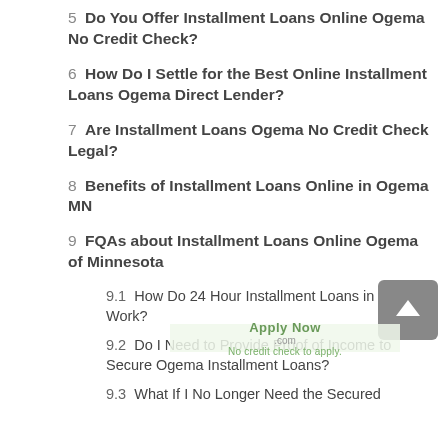5  Do You Offer Installment Loans Online Ogema No Credit Check?
6  How Do I Settle for the Best Online Installment Loans Ogema Direct Lender?
7  Are Installment Loans Ogema No Credit Check Legal?
8  Benefits of Installment Loans Online in Ogema MN
9  FQAs about Installment Loans Online Ogema of Minnesota
9.1  How Do 24 Hour Installment Loans in Ogema Work?
9.2  Do I Need to Provide Proof of Income to Secure Ogema Installment Loans?
9.3  What If I No Longer Need the Secured